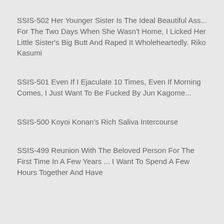SSIS-502 Her Younger Sister Is The Ideal Beautiful Ass... For The Two Days When She Wasn't Home, I Licked Her Little Sister's Big Butt And Raped It Wholeheartedly. Riko Kasumi
SSIS-501 Even If I Ejaculate 10 Times, Even If Morning Comes, I Just Want To Be Fucked By Jun Kagome...
SSIS-500 Koyoi Konan's Rich Saliva Intercourse
SSIS-499 Reunion With The Beloved Person For The First Time In A Few Years ... I Want To Spend A Few Hours Together And Have